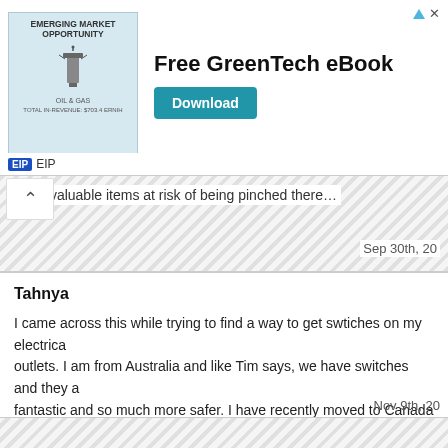[Figure (other): Advertisement banner: Emerging Market Opportunity Oil & Gas image on left, 'Free GreenTech eBook' text with Download button on right, EIP logo bar below]
Very valuable items at risk of being pinched there...
Sep 30th, 20
Tahnya
I came across this while trying to find a way to get swtiches on my electrical outlets. I am from Australia and like Tim says, we have switches and they a fantastic and so much more safer. I have recently moved to Canada and it's very frustrating that there are no switches on the wall outlets, I don't like plugging things in and taking them out while the power is still turned on in them, it's creepy. I think for all these clever inventions, they are useless without the switches. Get the friggen swtiches.
Nov 9th, 20